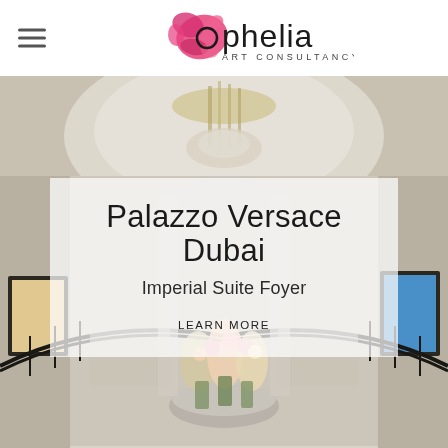ophelia ART CONSULTANCY
[Figure (photo): Interior photo of the Palazzo Versace Dubai Imperial Suite Foyer showing a grand chandelier, ornate railings, marble floors, framed artwork on the walls, and a circular table with flower arrangements.]
Palazzo Versace Dubai
Imperial Suite Foyer
LEARN MORE